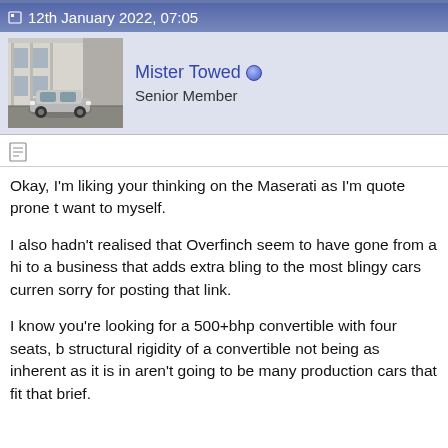12th January 2022, 07:05
Mister Towed
Senior Member
Okay, I'm liking your thinking on the Maserati as I'm quote prone t... want to myself.
I also hadn't realised that Overfinch seem to have gone from a hi... to a business that adds extra bling to the most blingy cars curren... sorry for posting that link.
I know you're looking for a 500+bhp convertible with four seats, b... structural rigidity of a convertible not being as inherent as it is in... aren't going to be many production cars that fit that brief.